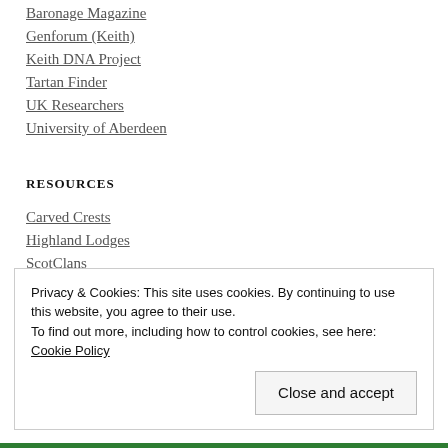Baronage Magazine
Genforum (Keith)
Keith DNA Project
Tartan Finder
UK Researchers
University of Aberdeen
RESOURCES
Carved Crests
Highland Lodges
ScotClans
Privacy & Cookies: This site uses cookies. By continuing to use this website, you agree to their use.
To find out more, including how to control cookies, see here: Cookie Policy
Close and accept